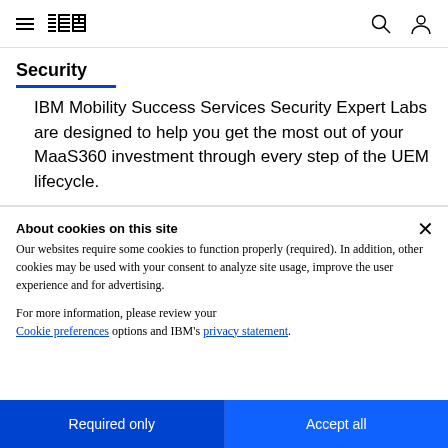IBM (logo) | Security
Security
IBM Mobility Success Services Security Expert Labs are designed to help you get the most out of your MaaS360 investment through every step of the UEM lifecycle.
About cookies on this site
Our websites require some cookies to function properly (required). In addition, other cookies may be used with your consent to analyze site usage, improve the user experience and for advertising.
For more information, please review your Cookie preferences options and IBM's privacy statement.
Required only
Accept all